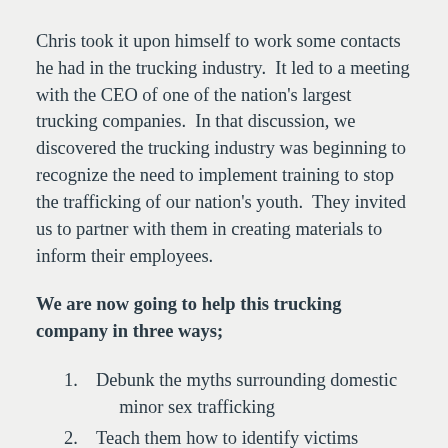Chris took it upon himself to work some contacts he had in the trucking industry.  It led to a meeting with the CEO of one of the nation's largest trucking companies.  In that discussion, we discovered the trucking industry was beginning to recognize the need to implement training to stop the trafficking of our nation's youth.  They invited us to partner with them in creating materials to inform their employees.
We are now going to help this trucking company in three ways;
Debunk the myths surrounding domestic minor sex trafficking
Teach them how to identify victims